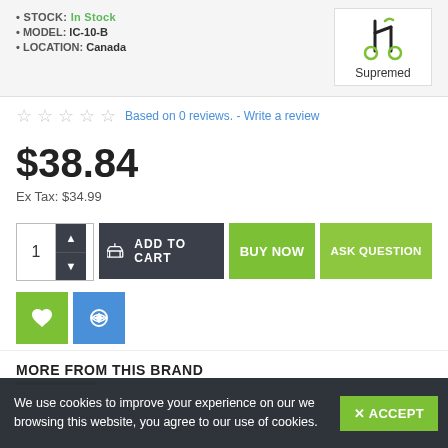STOCK: In Stock
MODEL: IC-10-B
LOCATION: Canada
[Figure (logo): Supremed brand logo with stylized scooter/wheelchair icon]
Based on 0 reviews. - Write a review
$38.84
Ex Tax: $34.99
ADD TO CART
BUY NOW
ASK QUESTION
MORE FROM THIS BRAND
We use cookies to improve your experience on our we browsing this website, you agree to our use of cookies.
× ACCEPT